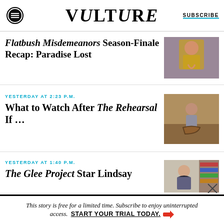VULTURE | SUBSCRIBE
Flatbush Misdemeanors Season-Finale Recap: Paradise Lost
YESTERDAY AT 2:23 P.M.
What to Watch After The Rehearsal If ...
YESTERDAY AT 1:40 P.M.
The Glee Project Star Lindsay
This story is free for a limited time. Subscribe to enjoy uninterrupted access. START YOUR TRIAL TODAY.